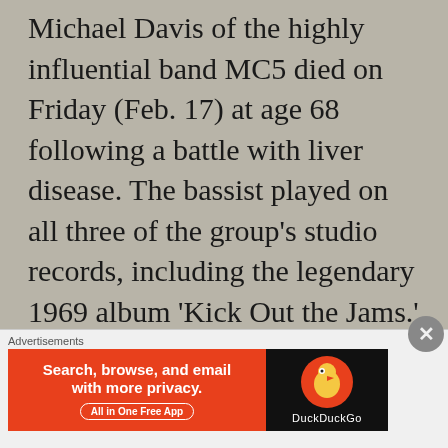Michael Davis of the highly influential band MC5 died on Friday (Feb. 17) at age 68 following a battle with liver disease. The bassist played on all three of the group's studio records, including the legendary 1969 album 'Kick Out the Jams.' According to the BBC, Davis's wife
[Figure (infographic): DuckDuckGo advertisement banner: orange left section reading 'Search, browse, and email with more privacy. All in One Free App' with a white outlined button, and a black right section with DuckDuckGo duck logo and brand name.]